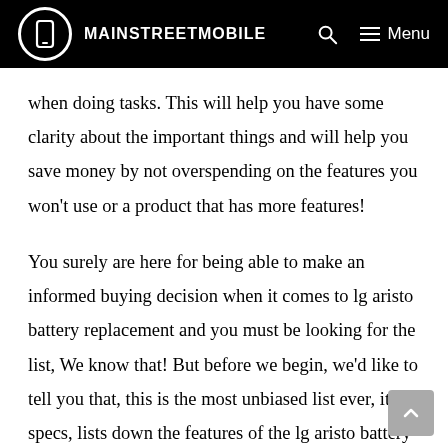MAINSTREETMOBILE
when doing tasks. This will help you have some clarity about the important things and will help you save money by not overspending on the features you won't use or a product that has more features!
You surely are here for being able to make an informed buying decision when it comes to lg aristo battery replacement and you must be looking for the list, We know that! But before we begin, we'd like to tell you that, this is the most unbiased list ever, it has specs, lists down the features of the lg aristo battery